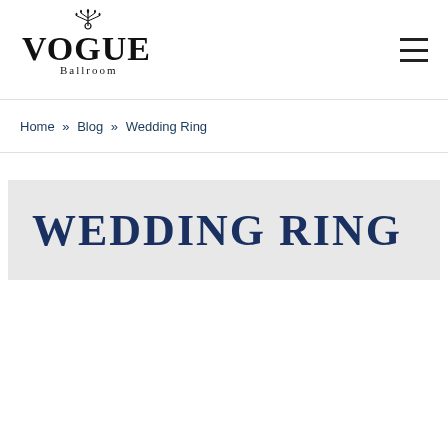[Figure (logo): Vogue Ballroom logo with ornate crown/candelabra icon above, large serif text VOGUE, and smaller text Ballroom below]
Home » Blog » Wedding Ring
WEDDING RING